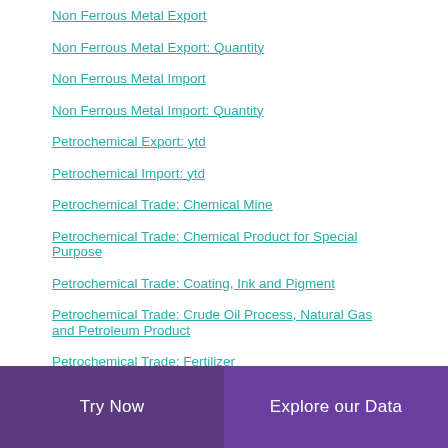Non Ferrous Metal Export
Non Ferrous Metal Export: Quantity
Non Ferrous Metal Import
Non Ferrous Metal Import: Quantity
Petrochemical Export: ytd
Petrochemical Import: ytd
Petrochemical Trade: Chemical Mine
Petrochemical Trade: Chemical Product for Special Purpose
Petrochemical Trade: Coating, Ink and Pigment
Petrochemical Trade: Crude Oil Process, Natural Gas and Petroleum Product
Petrochemical Trade: Fertilizer
Petrochemical Trade: Inorganic Chemical Material
Petrochemical Trade: Organic Chemical Material
Try Now   Explore our Data